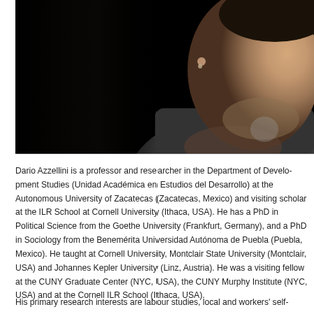[Figure (photo): Close-up portrait photo of a man (Dario Azzellini) against a black background. The right side of his face is visible, showing stubble/goatee, an earring, and he is wearing a dark shirt.]
Dario Azzellini is a professor and researcher in the Department of Development Studies (Unidad Académica en Estudios del Desarrollo) at the Autonomous University of Zacatecas (Zacatecas, Mexico) and visiting scholar at the ILR School at Cornell University (Ithaca, USA). He has a PhD in Political Science from the Goethe University (Frankfurt, Germany), and a PhD in Sociology from the Benemérita Universidad Autónoma de Puebla (Puebla, Mexico). He taught at Cornell University, Montclair State University (Montclair, USA) and Johannes Kepler University (Linz, Austria). He was a visiting fellow at the CUNY Graduate Center (NYC, USA), the CUNY Murphy Institute (NYC, USA) and at the Cornell ILR School (Ithaca, USA).
His primary research interests are labour studies, local and workers' self-